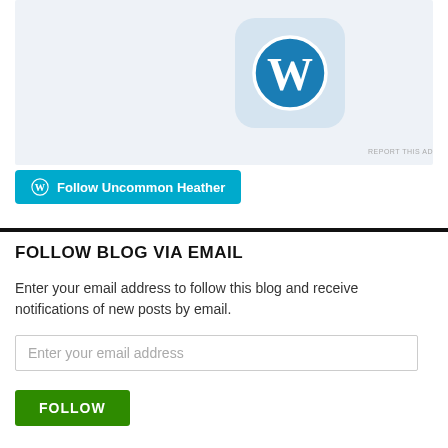[Figure (logo): WordPress logo icon on light blue rounded square background, displayed inside a light blue-grey ad banner]
REPORT THIS AD
Follow Uncommon Heather
FOLLOW BLOG VIA EMAIL
Enter your email address to follow this blog and receive notifications of new posts by email.
Enter your email address
FOLLOW